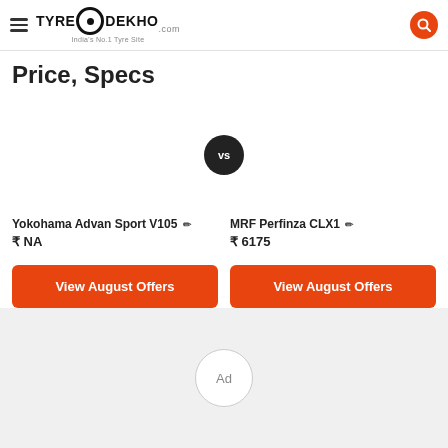TyreDekho.com - India's No.1 Tyre Site
Price, Specs
[Figure (other): VS badge circle centered between two product tyre images]
Yokohama Advan Sport V105 ✏️
₹ NA
MRF Perfinza CLX1 ✏️
₹ 6175
View August Offers
View August Offers
[Figure (other): Ad placeholder circle with 'Ad' text on gray background]